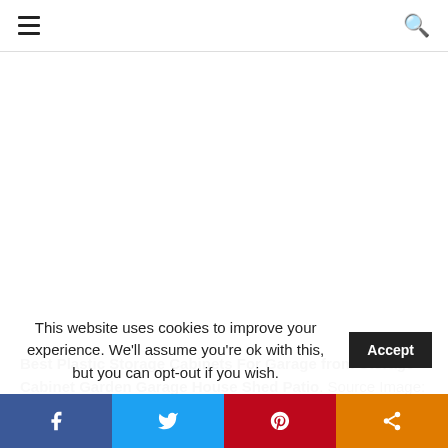[hamburger menu] [search icon]
[Figure (other): Blank white area representing an advertisement or image placeholder]
Best Plastic Storage Cabinets For Garage from Storage Cabinet Garden Garage House Shed Patio. Source Image: ebay.co.uk. Visit
This website uses cookies to improve your experience. We'll assume you're ok with this, but you can opt-out if you wish. Accept
[Figure (infographic): Social share bar with Facebook, Twitter, Pinterest, and share buttons]